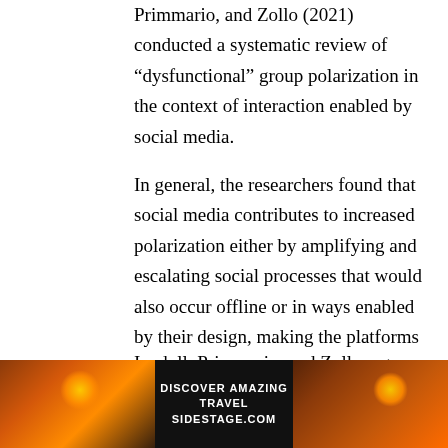Primmario, and Zollo (2021) conducted a systematic review of “dysfunctional” group polarization in the context of interaction enabled by social media.
In general, the researchers found that social media contributes to increased polarization either by amplifying and escalating social processes that would also occur offline or in ways enabled by their design, making the platforms also prone to manipulation.
Iandoll, Primmario, and Zollo argue that social media encourages group polarization in that it enables homophily — the tendency to engage with similar people, creating groups where certain beliefs become dominant — and discursive argumentation (Mercier
[Figure (photo): Advertisement banner for DISCOVER AMAZING TRAVEL SIDESTAGE.COM with sunset/travel imagery on left and right sides and black background with white bold text in the center.]